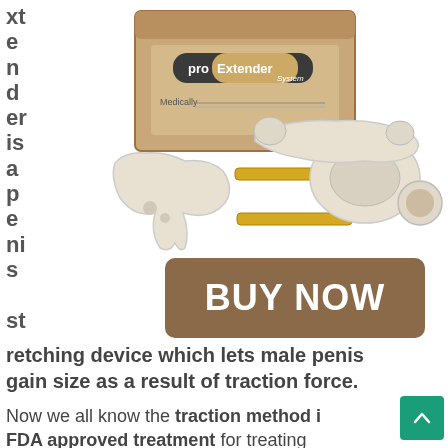[Figure (photo): ProExtender System product photo showing a brown cardboard box with logo and medical device components laid out in front on white background, including white plastic parts and gold-colored metal rods.]
xtender is a penis stretching device which lets male penis gain size as a result of traction force.
[Figure (other): BUY NOW button — brown rounded rectangle with white bold text reading 'BUY NOW']
Now we all know the traction method is FDA approved treatment for treating multiple sexual disorder in men, starting